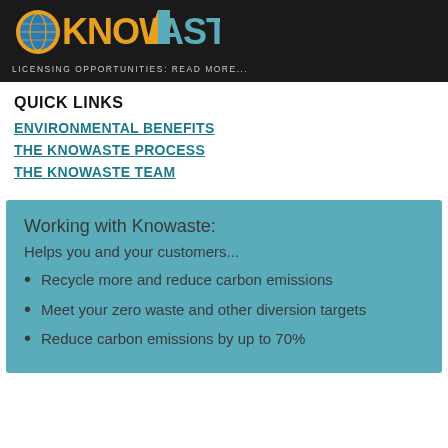[Figure (logo): Knowaste company logo with globe icon and orange/teal lettering on dark background, with text 'LICENSING OPPORTUNITIES: READ MORE...' below]
QUICK LINKS
ENVIRONMENTAL BENEFITS
THE KNOWASTE PROCESS
THE KNOWASTE TEAM
Working with Knowaste:
Helps you and your customers...
Recycle more and reduce carbon emissions
Meet your zero waste and other diversion targets
Reduce carbon emissions by up to 70%